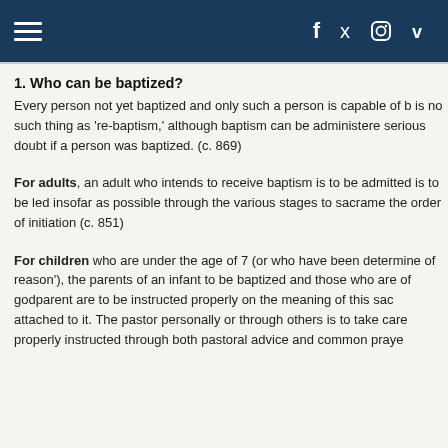Navigation header with hamburger menu and social icons: f, twitter, instagram, vimeo
1. Who can be baptized?
Every person not yet baptized and only such a person is capable of being baptized. There is no such thing as 're-baptism,' although baptism can be administered conditionally if there is serious doubt if a person was baptized. (c. 869)
For adults, an adult who intends to receive baptism is to be admitted to the catechumenate and is to be led insofar as possible through the various stages to sacramental initiation according to the order of initiation (c. 851)
For children who are under the age of 7 (or who have been determined to not have the use of reason'), the parents of an infant to be baptized and those who are going to undertake the role of godparent are to be instructed properly on the meaning of this sacrament and the obligations attached to it. The pastor personally or through others is to take care that the parents are properly instructed through both pastoral advice and common prayer